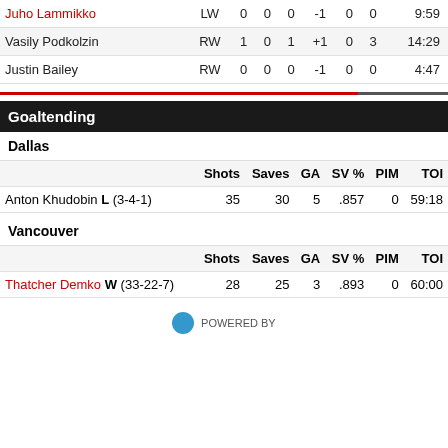|  | Pos | G | A | P | +/- | PIM | SOG | TOI |
| --- | --- | --- | --- | --- | --- | --- | --- | --- |
| Juho Lammikko | LW | 0 | 0 | 0 | -1 | 0 | 0 | 9:59 |
| Vasily Podkolzin | RW | 1 | 0 | 1 | +1 | 0 | 3 | 14:29 |
| Justin Bailey | RW | 0 | 0 | 0 | -1 | 0 | 0 | 4:47 |
Goaltending
Dallas
|  | Shots | Saves | GA | SV % | PIM | TOI |
| --- | --- | --- | --- | --- | --- | --- |
| Anton Khudobin L (3-4-1) | 35 | 30 | 5 | .857 | 0 | 59:18 |
Vancouver
|  | Shots | Saves | GA | SV % | PIM | TOI |
| --- | --- | --- | --- | --- | --- | --- |
| Thatcher Demko W (33-22-7) | 28 | 25 | 3 | .893 | 0 | 60:00 |
POWERED BY